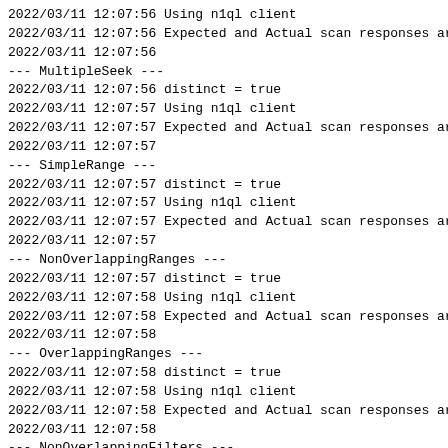2022/03/11 12:07:56 Using n1ql client
2022/03/11 12:07:56 Expected and Actual scan responses ar
2022/03/11 12:07:56
--- MultipleSeek ---
2022/03/11 12:07:56 distinct = true
2022/03/11 12:07:57 Using n1ql client
2022/03/11 12:07:57 Expected and Actual scan responses ar
2022/03/11 12:07:57
--- SimpleRange ---
2022/03/11 12:07:57 distinct = true
2022/03/11 12:07:57 Using n1ql client
2022/03/11 12:07:57 Expected and Actual scan responses ar
2022/03/11 12:07:57
--- NonOverlappingRanges ---
2022/03/11 12:07:57 distinct = true
2022/03/11 12:07:58 Using n1ql client
2022/03/11 12:07:58 Expected and Actual scan responses ar
2022/03/11 12:07:58
--- OverlappingRanges ---
2022/03/11 12:07:58 distinct = true
2022/03/11 12:07:58 Using n1ql client
2022/03/11 12:07:58 Expected and Actual scan responses ar
2022/03/11 12:07:58
--- NonOverlappingFilters ---
2022/03/11 12:07:58 distinct = true
2022/03/11 12:07:59 Using n1ql client
2022/03/11 12:07:59 Expected and Actual scan responses ar
2022/03/11 12:07:59
--- OverlappingFilters ---
2022/03/11 12:07:59 distinct = true